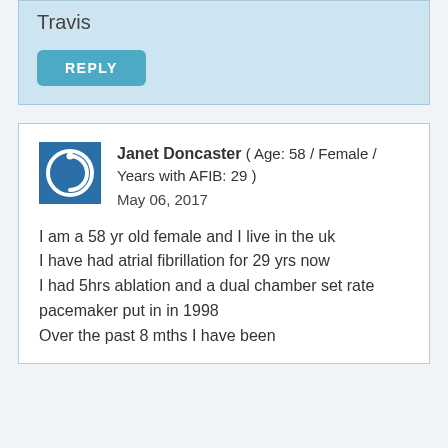Travis
REPLY
Janet Doncaster ( Age: 58 / Female / Years with AFIB: 29 )
May 06, 2017
I am a 58 yr old female and I live in the uk
I have had atrial fibrillation for 29 yrs now
I had 5hrs ablation and a dual chamber set rate pacemaker put in in 1998
Over the past 8 mths I have been